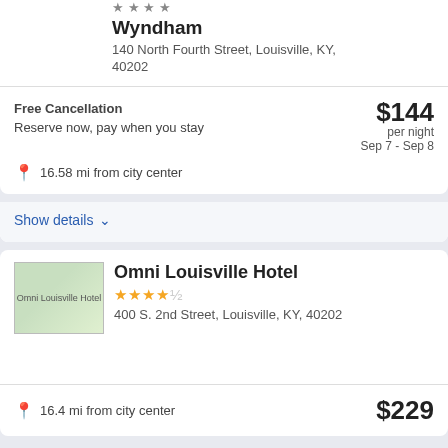Collection by Wyndham
140 North Fourth Street, Louisville, KY, 40202
Free Cancellation
Reserve now, pay when you stay
$144 per night
Sep 7 - Sep 8
16.58 mi from city center
Show details
Omni Louisville Hotel
400 S. 2nd Street, Louisville, KY, 40202
16.4 mi from city center
$229